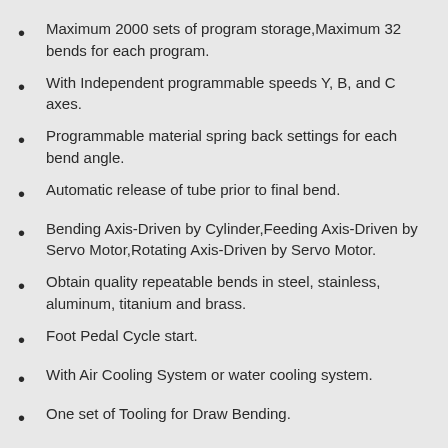Maximum 2000 sets of program storage,Maximum 32 bends for each program.
With Independent programmable speeds Y, B, and C axes.
Programmable material spring back settings for each bend angle.
Automatic release of tube prior to final bend.
Bending Axis-Driven by Cylinder,Feeding Axis-Driven by Servo Motor,Rotating Axis-Driven by Servo Motor.
Obtain quality repeatable bends in steel, stainless, aluminum, titanium and brass.
Foot Pedal Cycle start.
With Air Cooling System or water cooling system.
One set of Tooling for Draw Bending.